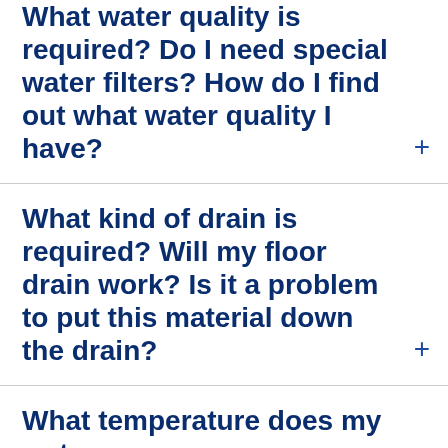What water quality is required? Do I need special water filters? How do I find out what water quality I have?
What kind of drain is required? Will my floor drain work? Is it a problem to put this material down the drain?
What temperature does my water need to be at?